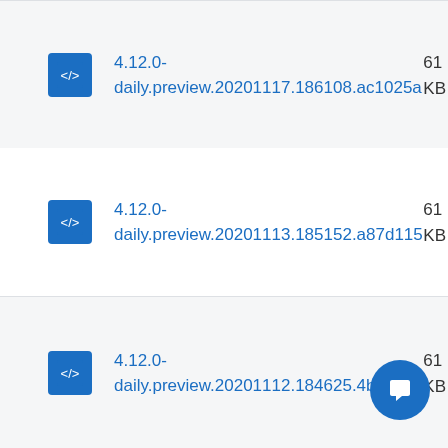4.12.0-daily.preview.20201117.186108.ac1025a  61 KB
4.12.0-daily.preview.20201113.185152.a87d115  61 KB
4.12.0-daily.preview.20201112.184625.4b74...  61 KB